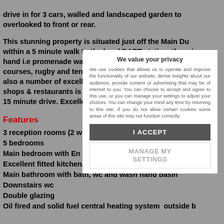drive in for 3 cars, walled and landscaped garden to overlooked to front or rear.
This stunning property is situated just off the Main Du within a 5 minute walk to the local DART station, there is a hand i.e promenade walkway which extends from Clonta courses, rugby and tennis clubs. Local schools include S also a number of excellent primary schools within walkin shops & restaurants is a short distance away. City Centre 15 minute drive. Excellent value. Must be viewed. Contact
Features
3 reception rooms (2 with fire places)
5 bedrooms
Main bedroom with En Suite and balcony
Excellent fitted kitchen/utility room
Main bathroom with bath, wc and wash hand basin
Downstairs wc
Double glazing
Oil fired and solid fuel central heating system outside b
We value your privacy. We use cookies that allows us to operate and improve the functionality of our website, derive insights about our audience, provide content or advertising that may be of interest to you. You can choose to accept and agree to this use, or you can manage your settings to adjust your choices. You can change your mind any time by returning to this site. If you do not allow certain cookies some areas of this site may not function correctly.
I ACCEPT
MANAGE MY SETTINGS